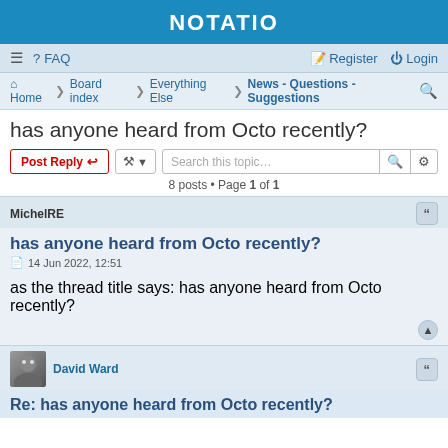NOTATIO
≡  FAQ    Register  Login
Home · Board index · Everything Else · News - Questions - Suggestions
has anyone heard from Octo recently?
Post Reply  [tools]  Search this topic…   8 posts • Page 1 of 1
MichelRE
has anyone heard from Octo recently?
14 Jun 2022, 12:51
as the thread title says: has anyone heard from Octo recently?
David Ward
Re: has anyone heard from Octo recently?